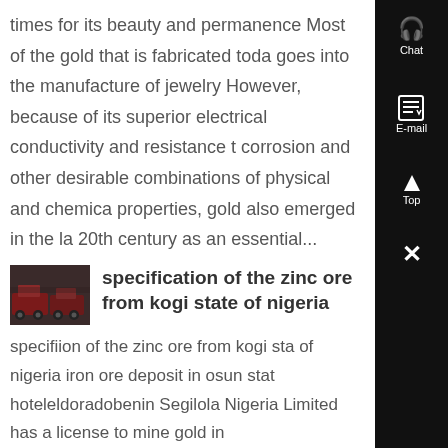times for its beauty and permanence Most of the gold that is fabricated today goes into the manufacture of jewelry However, because of its superior electrical conductivity and resistance to corrosion and other desirable combinations of physical and chemical properties, gold also emerged in the late 20th century as an essential...
[Figure (photo): Thumbnail photo of trucks/vehicles, dark reddish-brown tones]
specification of the zinc ore from kogi state of nigeria
specifiion of the zinc ore from kogi state of nigeria iron ore deposit in osun state hoteleldoradobenin Segilola Nigeria Limited has a license to mine gold in